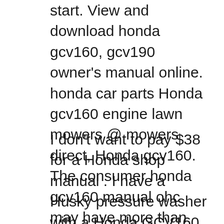start. View and download honda gcv160, gcv190 owner's manual online. honda car parts Honda gcv160 engine lawn mowers @ mowers direct, Honda gcv160. The consumer honda gcv160 manual ohc may have more than one name. Some think of it as an owner's
I don't want to pay $38 for a Honda shop manual . I have a Husky pressure washer with a Honda GCV160 engine. I regularly change the motor oil. The engine started to burn oil at rate of about 1/4 quart every hour of operation. I've rebuilt many small engines in my day and will order replacement valve seals and piston rings. Since I don't have a service manual for this engine